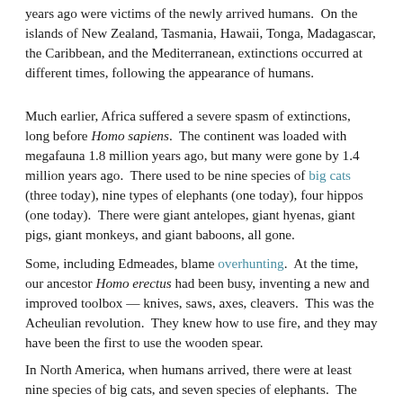years ago were victims of the newly arrived humans.  On the islands of New Zealand, Tasmania, Hawaii, Tonga, Madagascar, the Caribbean, and the Mediterranean, extinctions occurred at different times, following the appearance of humans.
Much earlier, Africa suffered a severe spasm of extinctions, long before Homo sapiens.  The continent was loaded with megafauna 1.8 million years ago, but many were gone by 1.4 million years ago.  There used to be nine species of big cats (three today), nine types of elephants (one today), four hippos (one today).  There were giant antelopes, giant hyenas, giant pigs, giant monkeys, and giant baboons, all gone.
Some, including Edmeades, blame overhunting.  At the time, our ancestor Homo erectus had been busy, inventing a new and improved toolbox — knives, saws, axes, cleavers.  This was the Acheulian revolution.  They knew how to use fire, and they may have been the first to use the wooden spear.
In North America, when humans arrived, there were at least nine species of big cats, and seven species of elephants.  The